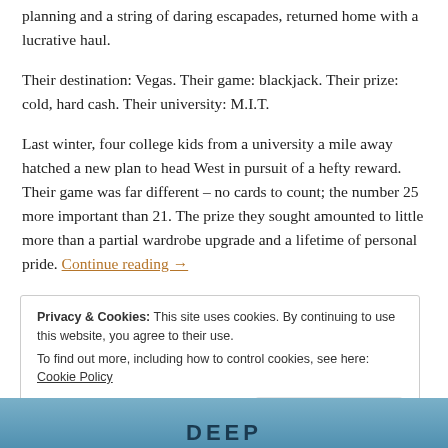planning and a string of daring escapades, returned home with a lucrative haul.
Their destination: Vegas. Their game: blackjack. Their prize: cold, hard cash. Their university: M.I.T.
Last winter, four college kids from a university a mile away hatched a new plan to head West in pursuit of a hefty reward. Their game was far different – no cards to count; the number 25 more important than 21. The prize they sought amounted to little more than a partial wardrobe upgrade and a lifetime of personal pride. Continue reading →
Privacy & Cookies: This site uses cookies. By continuing to use this website, you agree to their use. To find out more, including how to control cookies, see here: Cookie Policy
[Figure (photo): Bottom strip showing partial text 'DEEP' on a blue/ocean background]